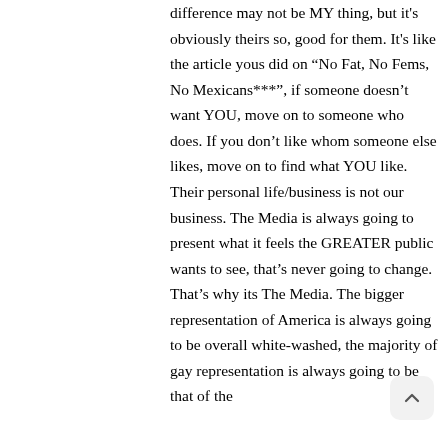difference may not be MY thing, but it's obviously theirs so, good for them. It's like the article yous did on “No Fat, No Fems, No Mexicans***”, if someone doesn't want YOU, move on to someone who does. If you don't like whom someone else likes, move on to find what YOU like. Their personal life/business is not our business. The Media is always going to present what it feels the GREATER public wants to see, that’s never going to change. That’s why its The Media. The bigger representation of America is always going to be overall white-washed, the majority of gay representation is always going to be that of the